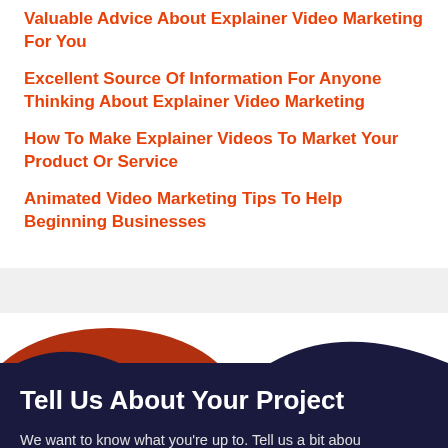Valuable Advice About Explainer Video Marketing For You
Excellent Source Of Information For Anyone Thinking About Explainer Video Marketing
How To Make Explainer Videos To Market Your Product Or Service
Animated Video Marketing Tips To Help Beginning Businesses
Tell Us About Your Project
We want to know what you’re up to. Tell us a bit about your project needs (timeline, budget, etc) so we can create a